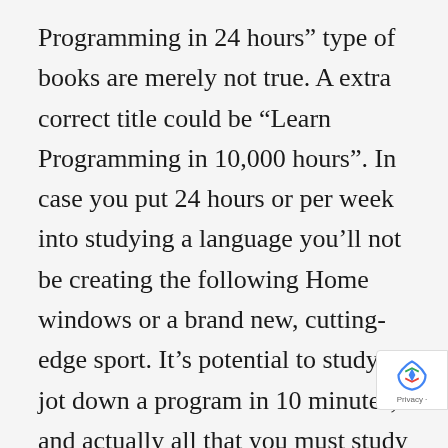Programming in 24 hours” type of books are merely not true. A extra correct title could be “Learn Programming in 10,000 hours”. In case you put 24 hours or per week into studying a language you’ll not be creating the following Home windows or a brand new, cutting-edge sport. It’s potential to study to jot down a program in 10 minutes, and actually all that you must study a brand new language is your favorite search engine, however you’ll not be an skilled. The one method to grow to be an skilled is very like studying the violin; the reply is apply, apply and apply some extra.Choosing Your First LanguageNow that we’ve got examined the constraints and dealt with a number of the unrealistic expectations, these of you continue